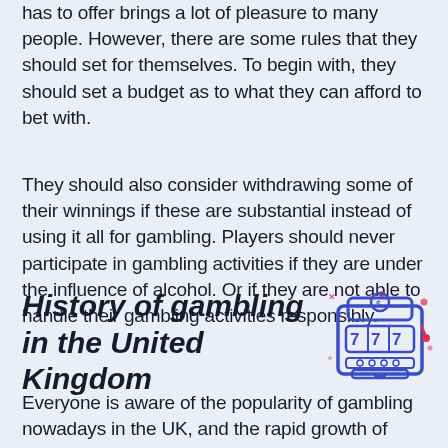has to offer brings a lot of pleasure to many people. However, there are some rules that they should set for themselves. To begin with, they should set a budget as to what they can afford to bet with.
They should also consider withdrawing some of their winnings if these are substantial instead of using it all for gambling. Players should never participate in gambling activities if they are under the influence of alcohol. Or if they are not able to handle their gambling activities responsibly.
History of gambling in the United Kingdom
[Figure (illustration): Slot machine illustration with blue and red pixel-art style design showing reels with 7s and coin symbols]
Everyone is aware of the popularity of gambling nowadays in the UK, and the rapid growth of online sports betting and casino sites has helped this.